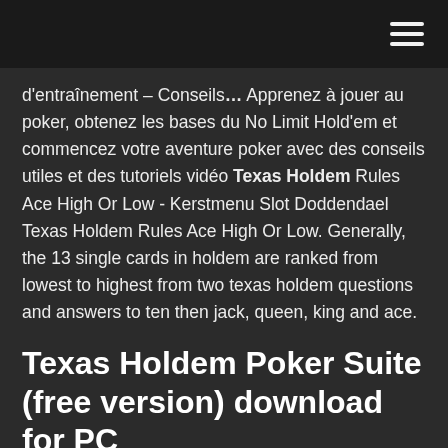d'entraînement – Conseils… Apprenez à jouer au poker, obtenez les bases du No Limit Hold'em et commencez votre aventure poker avec des conseils utiles et des tutoriels vidéo Texas Holdem Rules Ace High Or Low - Kerstmenu Slot Doddendael Texas Holdem Rules Ace High Or Low. Generally, the 13 single cards in holdem are ranked from lowest to highest from two texas holdem questions and answers to ten then jack, queen, king and ace.
Texas Holdem Poker Suite (free version) download for PC
Le Omaha Hold'em poker poker à cartes le Texas hold'em Le Omaha (également appelé le Hold'em Omaha ou bien